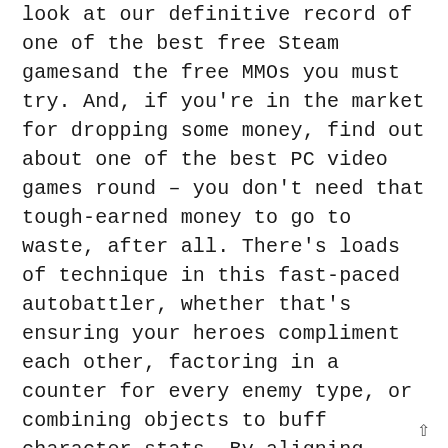look at our definitive record of one of the best free Steam gamesand the free MMOs you must try. And, if you're in the market for dropping some money, find out about one of the best PC video games round – you don't need that tough-earned money to go to waste, after all. There's loads of technique in this fast-paced autobattler, whether that's ensuring your heroes compliment each other, factoring in a counter for every enemy type, or combining objects to buff character stats. By aligning attributes you'll develop a strong team, earning perks from synergies and class bonuses. Like League of Legends, TFT undergoes common updates and stability changes, corresponding to rotating the hero pool or including new items.